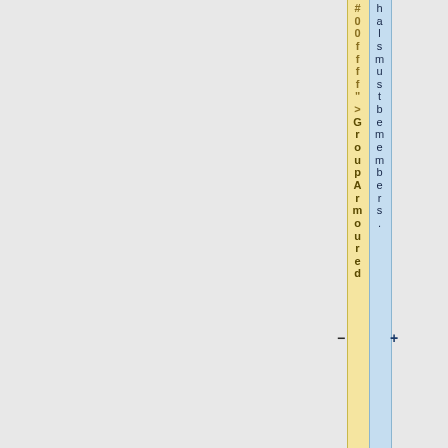#00fff">GroupArmoured
halsmustbemembers.